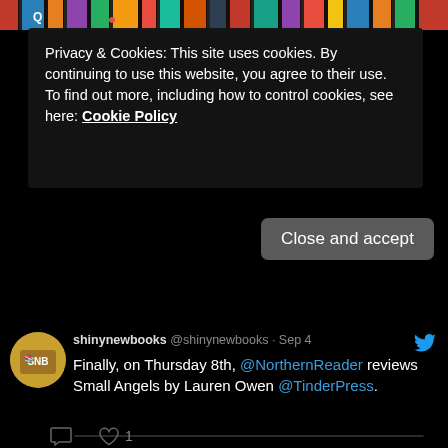[Figure (photo): Top strip showing book spines on a shelf, partially visible]
Privacy & Cookies: This site uses cookies. By continuing to use this website, you agree to their use.
To find out more, including how to control cookies, see here: Cookie Policy
Close and accept
shinynewbooks @shinynewbooks · Sep 4
Finally, on Thursday 8th, @NorthernReader reviews Small Angels by Lauren Owen @TinderPress.
[Figure (screenshot): Black embedded image box within tweet]